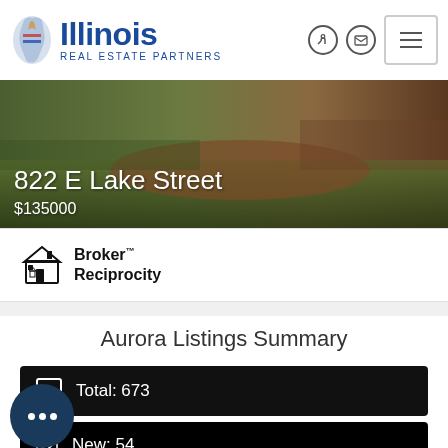[Figure (logo): Illinois Real Estate Partners logo with state outline icon]
[Figure (photo): Outdoor property photo with grass and mulch, overlaid with address 822 E Lake Street and price $135000]
822 E Lake Street
$135000
[Figure (logo): Broker Reciprocity logo with house icon]
Aurora Listings Summary
Total: 673
New: 54